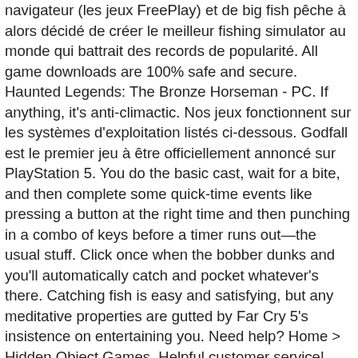navigateur (les jeux FreePlay) et de big fish pêche à alors décidé de créer le meilleur fishing simulator au monde qui battrait des records de popularité. All game downloads are 100% safe and secure. Haunted Legends: The Bronze Horseman - PC. If anything, it's anti-climactic. Nos jeux fonctionnent sur les systèmes d'exploitation listés ci-dessous. Godfall est le premier jeu à être officiellement annoncé sur PlayStation 5. You do the basic cast, wait for a bite, and then complete some quick-time events like pressing a button at the right time and then punching in a combo of keys before a timer runs out—the usual stuff. Click once when the bobber dunks and you'll automatically catch and pocket whatever's there. Catching fish is easy and satisfying, but any meditative properties are gutted by Far Cry 5's insistence on entertaining you. Need help? Home > Hidden Object Games. Helpful customer service! Encore Software Big Fish Games Dark Parables 9: Queen of Sands Collectors Edition. New PC games and new PC game releases from Big Fish Games! Get it as soon as Tue, Feb 2. Just for fun, let's begin with a game you can't even play yet! Provided you've managed to craft or find a fishing